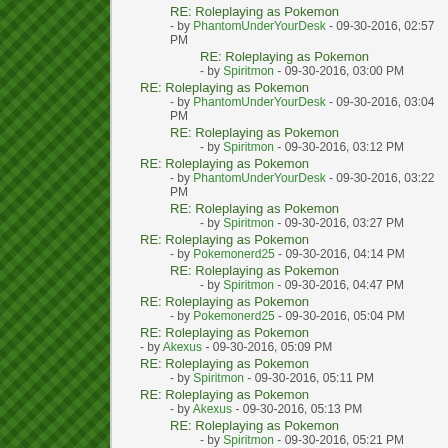RE: Roleplaying as Pokemon - by PhantomUnderYourDesk - 09-30-2016, 02:57 PM
RE: Roleplaying as Pokemon - by Spiritmon - 09-30-2016, 03:00 PM
RE: Roleplaying as Pokemon - by PhantomUnderYourDesk - 09-30-2016, 03:04 PM
RE: Roleplaying as Pokemon - by Spiritmon - 09-30-2016, 03:12 PM
RE: Roleplaying as Pokemon - by PhantomUnderYourDesk - 09-30-2016, 03:22 PM
RE: Roleplaying as Pokemon - by Spiritmon - 09-30-2016, 03:27 PM
RE: Roleplaying as Pokemon - by Pokemonerd25 - 09-30-2016, 04:14 PM
RE: Roleplaying as Pokemon - by Spiritmon - 09-30-2016, 04:47 PM
RE: Roleplaying as Pokemon - by Pokemonerd25 - 09-30-2016, 05:04 PM
RE: Roleplaying as Pokemon - by Akexus - 09-30-2016, 05:09 PM
RE: Roleplaying as Pokemon - by Spiritmon - 09-30-2016, 05:11 PM
RE: Roleplaying as Pokemon - by Akexus - 09-30-2016, 05:13 PM
RE: Roleplaying as Pokemon - by Spiritmon - 09-30-2016, 05:21 PM
RE: Roleplaying as Pokemon